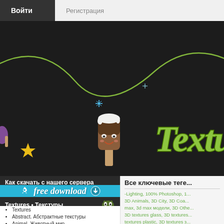Войти  Регистрация
[Figure (screenshot): Dark hero banner with a cartoon ice cream character, green swirling line, yellow star sparkles, and large green stylized 'Textu...' logo text on the right]
Как скачать с нашего сервера
[Figure (illustration): Cyan free download banner with rocket icon, text 'free download', and download icon]
Textures • Текстуры
Textures
Abstract. Абстрактные текстуры
Animal. Животный мир
Blue, Ice. Голубые и синие, текстуры льда
Colored. Цветные текстуры
Все ключевые теге...
-Lighting, 100% Photoshop, 1... 3D Animals, 3D City, 3D Coa... max, 3d max модели, 3D Othe... 3D textures glass, 3D textures... textures plastic, 3D textures з... интерьеры фотореализм, 3D ... модели людей, 3d модели ры... 3D строения, 3D фигуры, 3l... проектирование, 3D-редакто... FineReader, Abctract, about,... AGP...